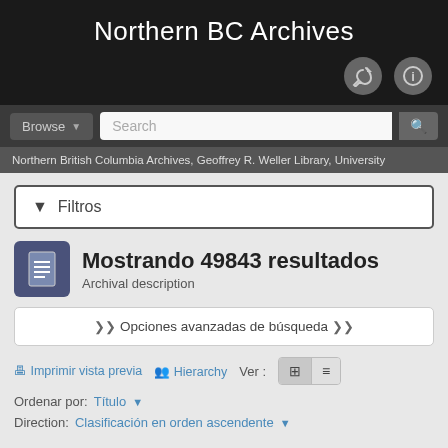Northern BC Archives
[Figure (screenshot): Navigation bar with Browse dropdown and Search input]
Northern British Columbia Archives, Geoffrey R. Weller Library, University
▼ Filtros
Mostrando 49843 resultados
Archival description
❮❮ Opciones avanzadas de búsqueda ❯❯
Imprimir vista previa  Hierarchy  Ver :
Ordenar por: Título ▼
Direction: Clasificación en orden ascendente ▼